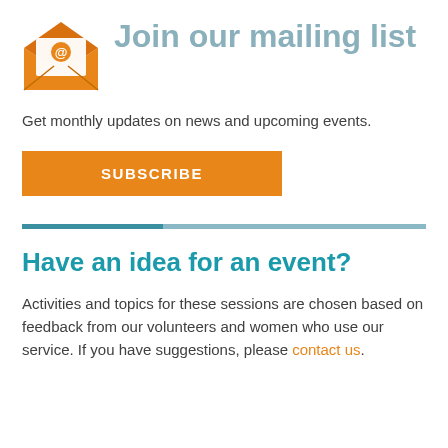[Figure (illustration): Orange envelope icon with @ symbol on white letter inside]
Join our mailing list
Get monthly updates on news and upcoming events.
SUBSCRIBE
Have an idea for an event?
Activities and topics for these sessions are chosen based on feedback from our volunteers and women who use our service. If you have suggestions, please contact us.